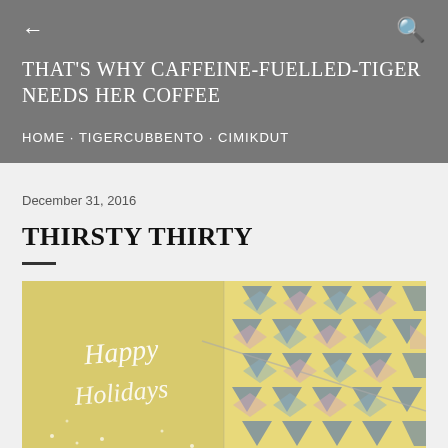← (back) and 🔍 (search) navigation icons
THAT'S WHY CAFFEINE-FUELLED-TIGER NEEDS HER COFFEE
HOME · TIGERCUBBENTO · CIMIKDUT
December 31, 2016
THIRSTY THIRTY
[Figure (photo): A decorative photo showing a yellow background with geometric triangle/diamond patterns in grey, blue, and pink pastels, with a 'Happy Holidays' cursive text overlay on the left half.]